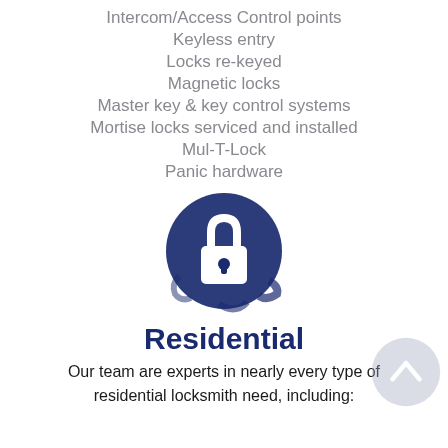Intercom/Access Control points
Keyless entry
Locks re-keyed
Magnetic locks
Master key & key control systems
Mortise locks serviced and installed
Mul-T-Lock
Panic hardware
[Figure (illustration): Dark navy blue circular brush-stroke icon containing a white padlock symbol]
Residential
Our team are experts in nearly every type of residential locksmith need, including: